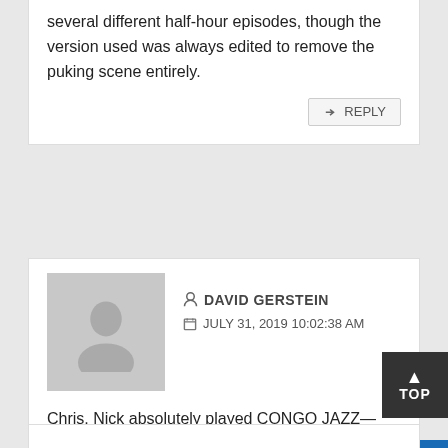several different half-hour episodes, though the version used was always edited to remove the puking scene entirely.
REPLY
DAVID GERSTEIN
JULY 31, 2019 10:02:38 AM
Chris, Nick absolutely played CONGO JAZZ—that's where I first saw it, numerous times.

Their package left out UPS 'N' DOWNS, DUMB PATROL, YODELING YOKELS, BOSKO SHIPWRECKED, and BOSKO THE DOUGHBOY (and maybe one or two more), but CONGO JAZZ was absolutely included.
REPLY